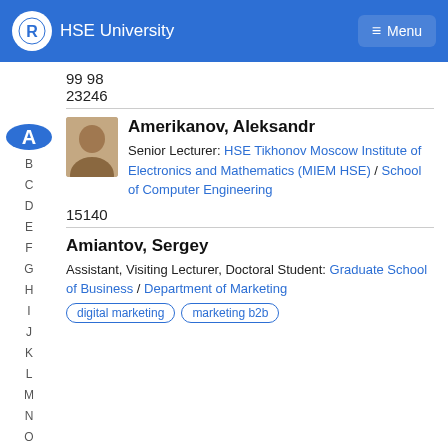HSE University
99 98
23246
Amerikanov, Aleksandr
Senior Lecturer: HSE Tikhonov Moscow Institute of Electronics and Mathematics (MIEM HSE) / School of Computer Engineering
15140
Amiantov, Sergey
Assistant, Visiting Lecturer, Doctoral Student: Graduate School of Business / Department of Marketing
digital marketing
marketing b2b